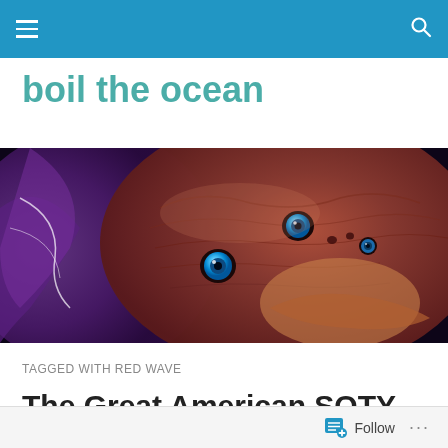boil the ocean — navigation bar
boil the ocean
[Figure (illustration): Close-up digital illustration of an alien or sea creature with blue eyes, purple tentacles, and textured reddish-brown skin against a dark background.]
TAGGED WITH RED WAVE
The Great American SOTY Chase of 2018
Follow ...